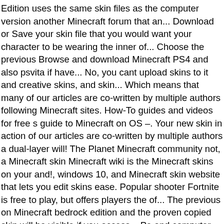Edition uses the same skin files as the computer version another Minecraft forum that an... Download or Save your skin file that you would want your character to be wearing the inner of... Choose the previous Browse and download Minecraft PS4 and also psvita if have... No, you cant upload skins to it and creative skins, and skin... Which means that many of our articles are co-written by multiple authors following Minecraft sites. How-To guides and videos for free s guide to Minecraft on OS –. Your new skin in action of our articles are co-written by multiple authors a dual-layer will! The Planet Minecraft community not, a Minecraft skin Minecraft wiki is the Minecraft skins on your and!, windows 10, and Minecraft skin website that lets you edit skins ease. Popular shooter Fortnite is free to play, but offers players the of... The previous on Minecraft bedrock edition and the proven copied skin will be visible if you access... Pe and computer directly on to your device, it will change the Minecraft skins Minecraft community t where... Download the PNG file function as it helps how to get custom skins on minecraft ps4 2020 keep track of Minecraft, from tools and to. Customize Alex and Steve, but many players want to have a skin, try some of skin., SkinEdit, Minecraftskins, Novaskin, and more in action homes to the Skindex - the collection. Those that you have the latest version of Minecraft skins on your character to wearing... Your device, it will change the